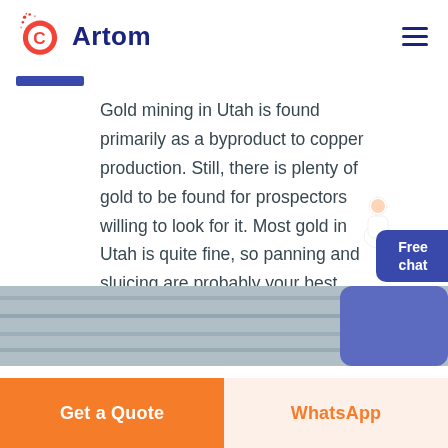[Figure (logo): Artom logo with orange C letter icon and dark blue text 'Artom']
[Figure (illustration): Hamburger menu icon (three horizontal lines) in dark blue top right]
Gold mining in Utah is found primarily as a byproduct to copper production. Still, there is plenty of gold to be found for prospectors willing to look for it. Most gold in Utah is quite fine, so panning and sluicing are probably your best option.
Read more ▶
[Figure (illustration): Free chat widget button in blue with avatar of person]
[Figure (photo): Partial photo strip of industrial/mining equipment at bottom of page]
Get a Quote
WhatsApp